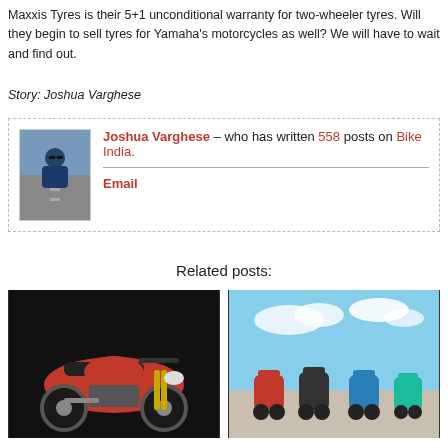Maxxis Tyres is their 5+1 unconditional warranty for two-wheeler tyres. Will they begin to sell tyres for Yamaha's motorcycles as well? We will have to wait and find out.
Story: Joshua Varghese
Joshua Varghese – who has written 558 posts on Bike India.
Email
Related posts:
[Figure (photo): Red and black motorcycle on dark background]
[Figure (photo): Multiple scooters parked outdoors with blue sky background]